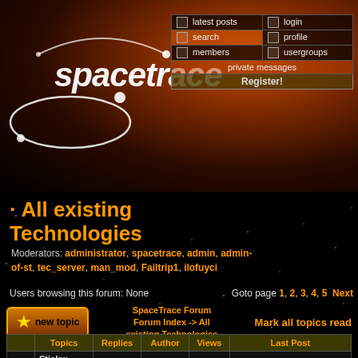[Figure (logo): Spacetrace logo with orbital rings on dark space/orange planet background]
latest posts | login | search | profile | members | usergroups | private messages | Register!
All existing Technologies
Moderators: administrator, spacetrace, admin, admin-of-st, tec_server, man_mod, Failtrip1, ilofuyci
Users browsing this forum: None    Goto page 1, 2, 3, 4, 5  Next
new topic    SpaceTrace Forum Forum Index -> All existing Technologies    Mark all topics read
| Topics | Replies | Author | Views | Last Post |
| --- | --- | --- | --- | --- |
| Sticky: Please post ONLY on-topic in this Forum, no sigs and quotes | 1 | admin | 7036 | Tue Jun 26, 2007 11:45 pm admin |
| wings of terror | 0 | tec_server | 1261 | Sat Aug 14, 2021 10:24 am tec_server |